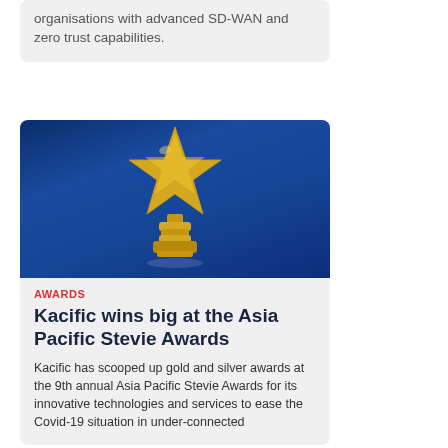organisations with advanced SD-WAN and zero trust capabilities.
[Figure (photo): A golden star trophy on a blue background]
AWARDS
Kacific wins big at the Asia Pacific Stevie Awards
Kacific has scooped up gold and silver awards at the 9th annual Asia Pacific Stevie Awards for its innovative technologies and services to ease the Covid-19 situation in under-connected